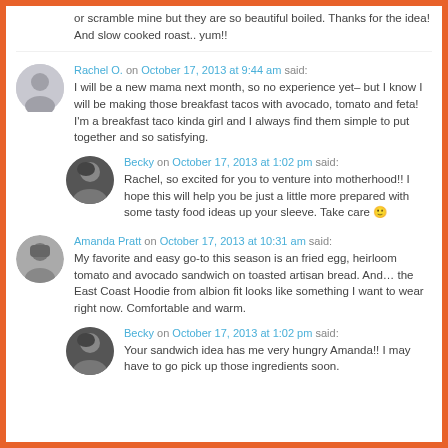or scramble mine but they are so beautiful boiled. Thanks for the idea! And slow cooked roast.. yum!!
Rachel O. on October 17, 2013 at 9:44 am said: I will be a new mama next month, so no experience yet– but I know I will be making those breakfast tacos with avocado, tomato and feta! I'm a breakfast taco kinda girl and I always find them simple to put together and so satisfying.
Becky on October 17, 2013 at 1:02 pm said: Rachel, so excited for you to venture into motherhood!! I hope this will help you be just a little more prepared with some tasty food ideas up your sleeve. Take care 🙂
Amanda Pratt on October 17, 2013 at 10:31 am said: My favorite and easy go-to this season is an fried egg, heirloom tomato and avocado sandwich on toasted artisan bread. And… the East Coast Hoodie from albion fit looks like something I want to wear right now. Comfortable and warm.
Becky on October 17, 2013 at 1:02 pm said: Your sandwich idea has me very hungry Amanda!! I may have to go pick up those ingredients soon.